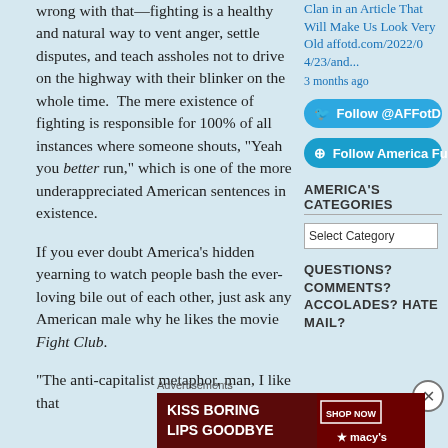wrong with that—fighting is a healthy and natural way to vent anger, settle disputes, and teach assholes not to drive on the highway with their blinker on the whole time.  The mere existence of fighting is responsible for 100% of all instances where someone shouts, "Yeah you better run," which is one of the more underappreciated American sentences in existence.
Clan in an Article That Will Make Us Look Very Old affotd.com/2022/04/23/and... 3 months ago
Follow @AFFotD
Follow America Fun
If you ever doubt America's hidden yearning to watch people bash the ever-loving bile out of each other, just ask any American male why he likes the movie Fight Club.
AMERICA'S CATEGORIES
Select Category
QUESTIONS? COMMENTS? ACCOLADES? HATE MAIL?
"The anti-capitalist metaphor, man, I like that
Advertisements
[Figure (other): Macy's advertisement banner: KISS BORING LIPS GOODBYE with SHOP NOW button and Macy's star logo]